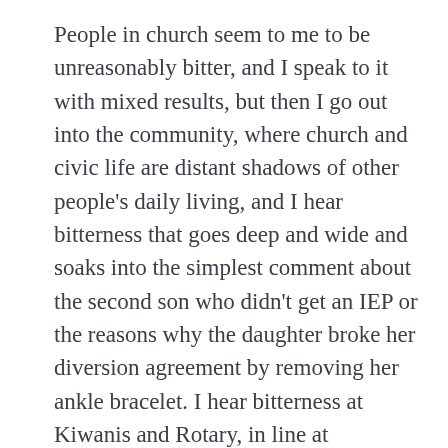People in church seem to me to be unreasonably bitter, and I speak to it with mixed results, but then I go out into the community, where church and civic life are distant shadows of other people's daily living, and I hear bitterness that goes deep and wide and soaks into the simplest comment about the second son who didn't get an IEP or the reasons why the daughter broke her diversion agreement by removing her ankle bracelet. I hear bitterness at Kiwanis and Rotary, in line at Walmart, and I used to on my radio until I froze it at Margaritaville, but it leaks in even there